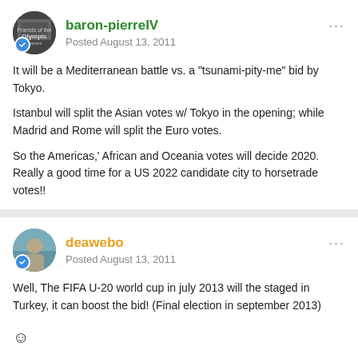baron-pierreIV
Posted August 13, 2011
It will be a Mediterranean battle vs. a "tsunami-pity-me" bid by Tokyo.
Istanbul will split the Asian votes w/ Tokyo in the opening; while Madrid and Rome will split the Euro votes.
So the Americas,' African and Oceania votes will decide 2020. Really a good time for a US 2022 candidate city to horsetrade votes!!
deawebo
Posted August 13, 2011
Well, The FIFA U-20 world cup in july 2013 will the staged in Turkey, it can boost the bid! (Final election in september 2013)